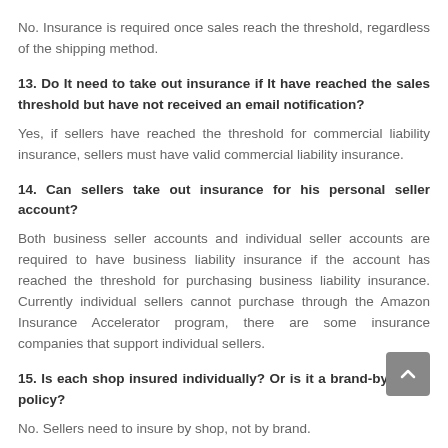No. Insurance is required once sales reach the threshold, regardless of the shipping method.
13. Do It need to take out insurance if It have reached the sales threshold but have not received an email notification?
Yes, if sellers have reached the threshold for commercial liability insurance, sellers must have valid commercial liability insurance.
14. Can sellers take out insurance for his personal seller account?
Both business seller accounts and individual seller accounts are required to have business liability insurance if the account has reached the threshold for purchasing business liability insurance. Currently individual sellers cannot purchase through the Amazon Insurance Accelerator program, there are some insurance companies that support individual sellers.
15. Is each shop insured individually? Or is it a brand-by-brand policy?
No. Sellers need to insure by shop, not by brand.
16. How long does it take to receive an approval notice after he have purchased the insurance and uploaded the proof of insurance in the